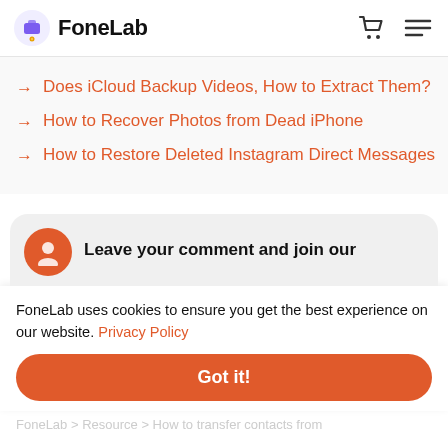FoneLab
Does iCloud Backup Videos, How to Extract Them?
How to Recover Photos from Dead iPhone
How to Restore Deleted Instagram Direct Messages
Leave your comment and join our
FoneLab uses cookies to ensure you get the best experience on our website. Privacy Policy
Got it!
FoneLab > Resource > How to transfer contacts from